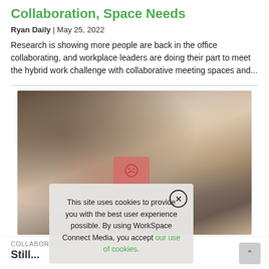Collaboration, Space Needs
Ryan Daily | May 25, 2022
Research is showing more people are back in the office collaborating, and workplace leaders are doing their part to meet the hybrid work challenge with collaborative meeting spaces and...
[Figure (photo): Blurred photo of people in an office or event space with a cookie consent popup overlay reading: This site uses cookies to provide you with the best user experience possible. By using WorkSpace Connect Media, you accept our use of cookies.]
COLLABORATIO
Still...